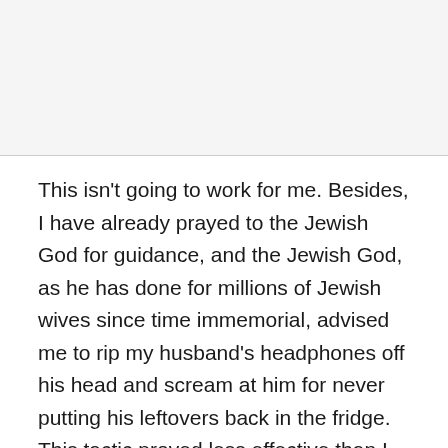This isn't going to work for me. Besides, I have already prayed to the Jewish God for guidance, and the Jewish God, as he has done for millions of Jewish wives since time immemorial, advised me to rip my husband's headphones off his head and scream at him for never putting his leftovers back in the fridge. This tactic proved less effective than I hoped.
I click on another page, where a forum of concerned